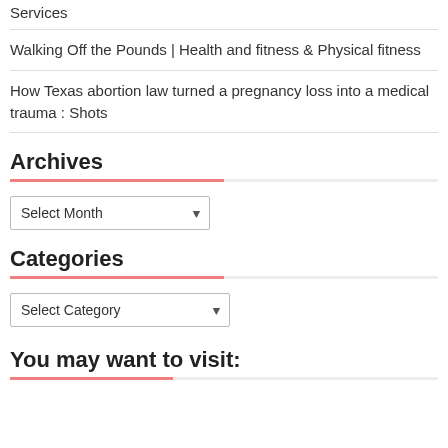Services
Walking Off the Pounds | Health and fitness & Physical fitness
How Texas abortion law turned a pregnancy loss into a medical trauma : Shots
Archives
Select Month
Categories
Select Category
You may want to visit: